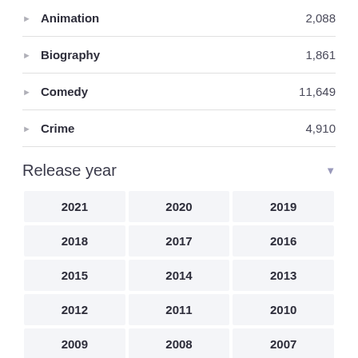Animation  2,088
Biography  1,861
Comedy  11,649
Crime  4,910
Release year
| 2021 | 2020 | 2019 |
| 2018 | 2017 | 2016 |
| 2015 | 2014 | 2013 |
| 2012 | 2011 | 2010 |
| 2009 | 2008 | 2007 |